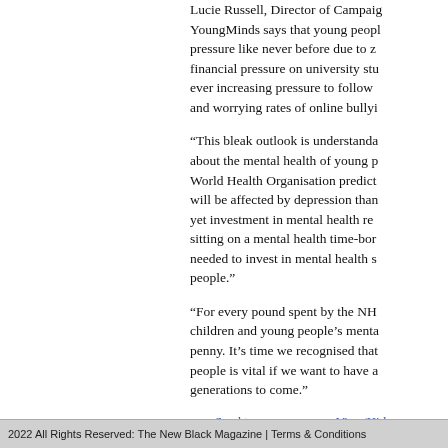Lucie Russell, Director of Campaigns at YoungMinds says that young people face pressure like never before due to z financial pressure on university stu ever increasing pressure to follow and worrying rates of online bullyi
“This bleak outlook is understanda about the mental health of young p World Health Organisation predict will be affected by depression than yet investment in mental health re sitting on a mental health time-bor needed to invest in mental health s people.”
“For every pound spent by the NH children and young people’s menta penny. It’s time we recognised that people is vital if we want to have a generations to come.”
Send to a friend | View/Hide Comments (0)
2022 All Rights Reserved: The New Black Magazine | Terms & Conditions